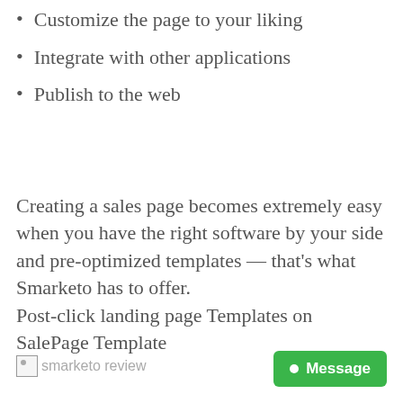Customize the page to your liking
Integrate with other applications
Publish to the web
Creating a sales page becomes extremely easy when you have the right software by your side and pre-optimized templates — that's what Smarketo has to offer.
Post-click landing page Templates on SalePage Template
[Figure (photo): Broken image placeholder labeled 'smarketo review']